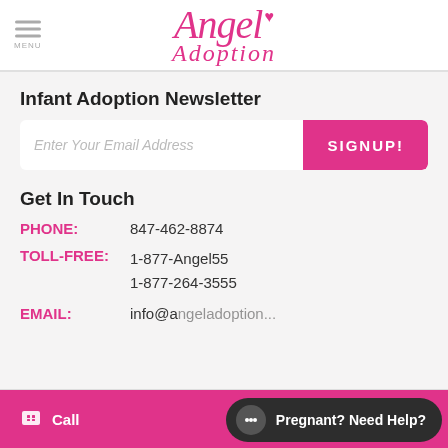MENU | Angel Adoption
Infant Adoption Newsletter
Enter Your Email Address | SIGNUP!
Get In Touch
PHONE: 847-462-8874
TOLL-FREE: 1-877-Angel55 1-877-264-3555
EMAIL: info@a...
Call | Pregnant? Need Help?